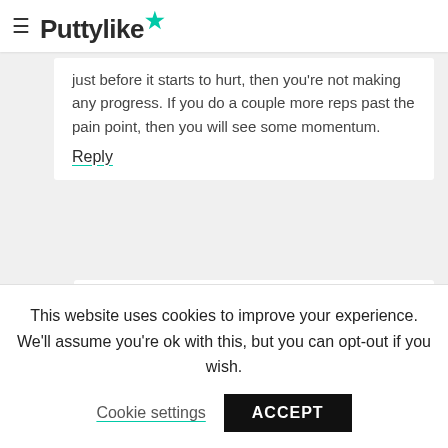Puttylike
just before it starts to hurt, then you're not making any progress. If you do a couple more reps past the pain point, then you will see some momentum.
Reply
Emilie says
February 18, 2011 at 12:39 pm
This website uses cookies to improve your experience. We'll assume you're ok with this, but you can opt-out if you wish.
Cookie settings
ACCEPT